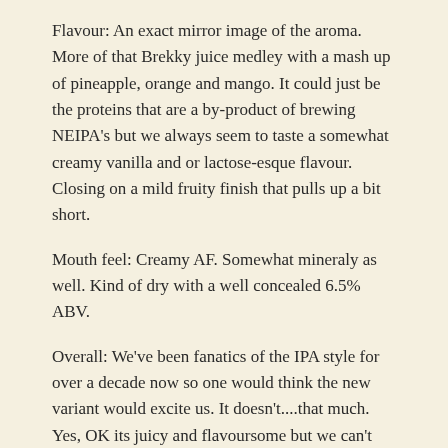Flavour: An exact mirror image of the aroma. More of that Brekky juice medley with a mash up of pineapple, orange and mango. It could just be the proteins that are a by-product of brewing NEIPA's but we always seem to taste a somewhat creamy vanilla and or lactose-esque flavour. Closing on a mild fruity finish that pulls up a bit short.
Mouth feel: Creamy AF. Somewhat mineraly as well. Kind of dry with a well concealed 6.5% ABV.
Overall: We've been fanatics of the IPA style for over a decade now so one would think the new variant would excite us. It doesn't....that much. Yes, OK its juicy and flavoursome but we can't quite grasp why the style is so popular. This one though, is probably one of the better Aussie interpretations.
This entry was posted in IPA's on January 22, 2018.